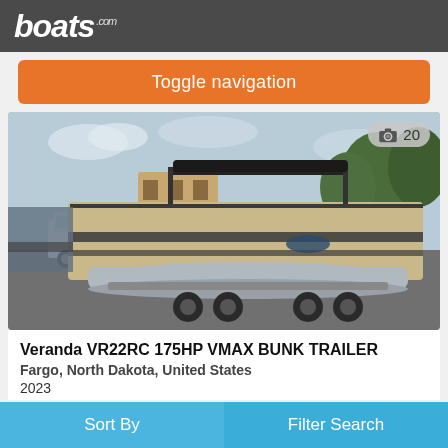boats.com
Toggle navigation
[Figure (photo): Pontoon boat (Veranda VR22RC) on a trailer in a parking lot. The boat is silver/gold colored with a black bimini top. A white pickup truck is visible in the background along with trees and buildings. A photo count badge showing a camera icon and '20' is in the upper right corner of the image.]
Veranda VR22RC 175HP VMAX BUNK TRAILER
Fargo, North Dakota, United States
2023
Sort By   Filter Search